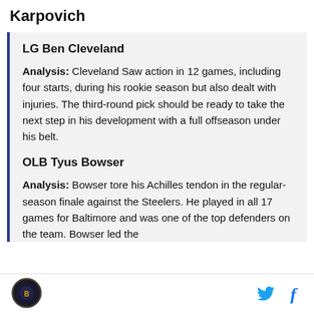Karpovich
LG Ben Cleveland
Analysis: Cleveland Saw action in 12 games, including four starts, during his rookie season but also dealt with injuries. The third-round pick should be ready to take the next step in his development with a full offseason under his belt.
OLB Tyus Bowser
Analysis: Bowser tore his Achilles tendon in the regular-season finale against the Steelers. He played in all 17 games for Baltimore and was one of the top defenders on the team. Bowser led the